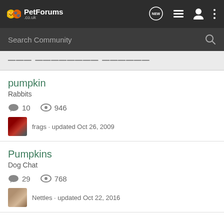PetForums .co.uk
Search Community
pumpkin
Rabbits
10  946
frags · updated Oct 26, 2009
Pumpkins
Dog Chat
29  768
Nettles · updated Oct 22, 2016